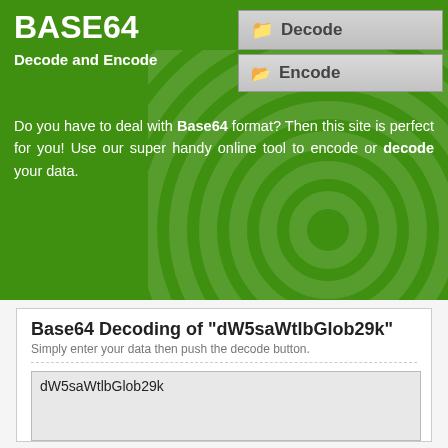BASE64
Decode and Encode
Decode
Encode
Do you have to deal with Base64 format? Then this site is perfect for you! Use our super handy online tool to encode or decode your data.
Base64 Decoding of "dW5saWtlbGlob29k"
Simply enter your data then push the decode button.
dW5saWtlbGlob29k